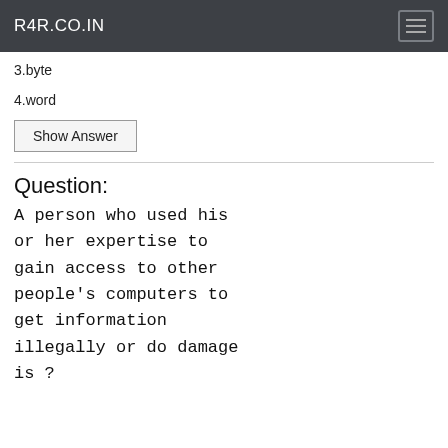R4R.CO.IN
3.byte
4.word
Show Answer
Question:
A person who used his or her expertise to gain access to other people's computers to get information illegally or do damage is ?